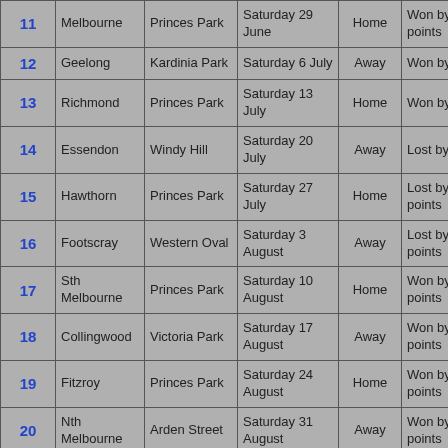| Round | Opponent | Venue | Date | Home/Away | Result |
| --- | --- | --- | --- | --- | --- |
| 11 | Melbourne | Princes Park | Saturday 29 June | Home | Won by 42 points |
| 12 | Geelong | Kardinia Park | Saturday 6 July | Away | Won by 8 points |
| 13 | Richmond | Princes Park | Saturday 13 July | Home | Won by 6 points |
| 14 | Essendon | Windy Hill | Saturday 20 July | Away | Lost by 6 points |
| 15 | Hawthorn | Princes Park | Saturday 27 July | Home | Lost by 13 points |
| 16 | Footscray | Western Oval | Saturday 3 August | Away | Lost by 32 points |
| 17 | Sth Melbourne | Princes Park | Saturday 10 August | Home | Won by 42 points |
| 18 | Collingwood | Victoria Park | Saturday 17 August | Away | Won by 37 points |
| 19 | Fitzroy | Princes Park | Saturday 24 August | Home | Won by 52 points |
| 20 | Nth Melbourne | Arden Street | Saturday 31 August | Away | Won by 21 points |